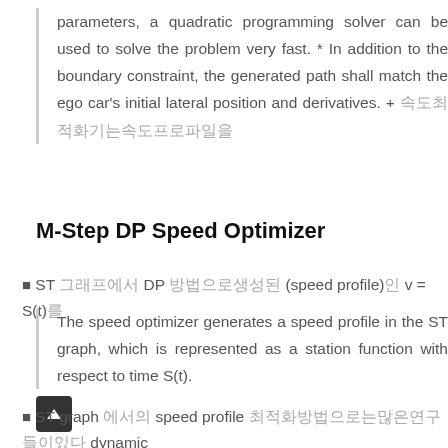parameters, a quadratic programming solver can be used to solve the problem very fast. * In addition to the boundary constraint, the generated path shall match the ego car's initial lateral position and derivatives. + 속도최적화기는속도프로파일을
M-Step DP Speed Optimizer
• ST 그래프에서 DP 방법으로생성된 (speed profile)인 v = S(t)를
The speed optimizer generates a speed profile in the ST graph, which is represented as a station function with respect to time S(t).
• ST graph 에서의 speed profile 최적화방법으로는많은연구들이있다 dynamic